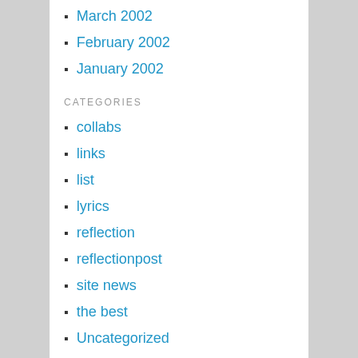March 2002
February 2002
January 2002
CATEGORIES
collabs
links
list
lyrics
reflection
reflectionpost
site news
the best
Uncategorized
web fun
BLOGROLL
Anastassia
Becca
Doreen